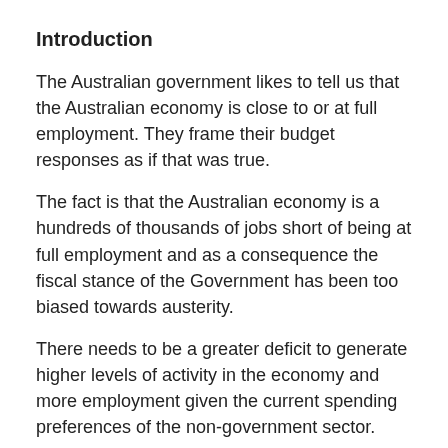Introduction
The Australian government likes to tell us that the Australian economy is close to or at full employment. They frame their budget responses as if that was true.
The fact is that the Australian economy is a hundreds of thousands of jobs short of being at full employment and as a consequence the fiscal stance of the Government has been too biased towards austerity.
There needs to be a greater deficit to generate higher levels of activity in the economy and more employment given the current spending preferences of the non-government sector.
Here are some summary facts:
In March 2013, there were 670,400 persons unemployed at an official unemployment rate of 5.6 per cent. This seriously understates the extent of labour wastage in the